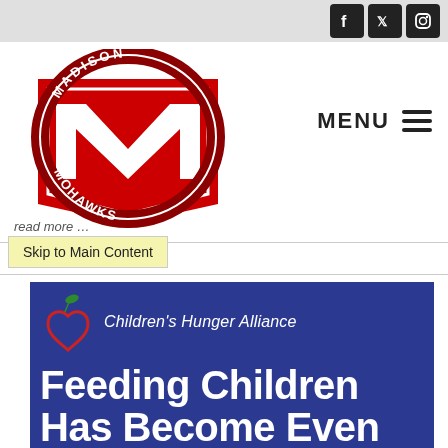[Figure (logo): Madison Mohawks school logo - red M with circular badge text]
MENU ☰
read more …
Skip to Main Content
[Figure (illustration): Children's Hunger Alliance banner with logo (red apple heart with green leaf) and large white bold text: Feeding Children Has Become Even More Urgent on blue background]